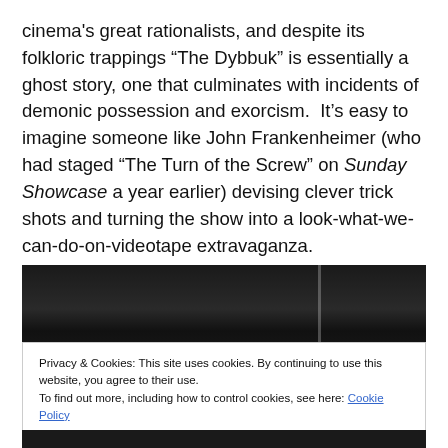cinema's great rationalists, and despite its folkloric trappings “The Dybbuk” is essentially a ghost story, one that culminates with incidents of demonic possession and exorcism.  It’s easy to imagine someone like John Frankenheimer (who had staged “The Turn of the Screw” on Sunday Showcase a year earlier) devising clever trick shots and turning the show into a look-what-we-can-do-on-videotape extravaganza.
[Figure (photo): Black and white photograph, partially visible, dark scene]
Privacy & Cookies: This site uses cookies. By continuing to use this website, you agree to their use.
To find out more, including how to control cookies, see here: Cookie Policy
Close and accept
[Figure (photo): Black and white photograph, bottom strip, partially visible]